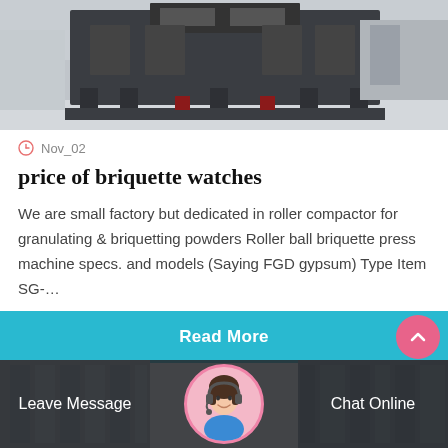[Figure (photo): Industrial machine (roller compactor / briquette press) in a factory, dark metal frame, viewed from front-angle]
Nov_02
price of briquette watches
We are small factory but dedicated in roller compactor for granulating &amp; briquetting powders Roller ball briquette press machine specs. and models (Saying FGD gypsum) Type Item SG-…
Read More
[Figure (photo): Bottom strip with two blurred machinery photos on left and right, a circular avatar of a female customer service representative in the center, 'Leave Message' text on the left, 'Chat Online' text on the right]